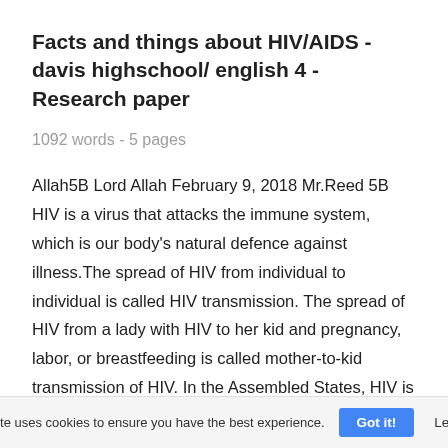Facts and things about HIV/AIDS - davis highschool/ english 4 - Research paper
1092 words - 5 pages
Allah5B Lord Allah February 9, 2018 Mr.Reed 5B HIV is a virus that attacks the immune system, which is our body's natural defence against illness.The spread of HIV from individual to individual is called HIV transmission. The spread of HIV from a lady with HIV to her kid and pregnancy, labor, or breastfeeding is called mother-to-kid transmission of HIV. In the Assembled States, HIV is spread for the most part by
This website uses cookies to ensure you have the best experience. Got it! Learn more